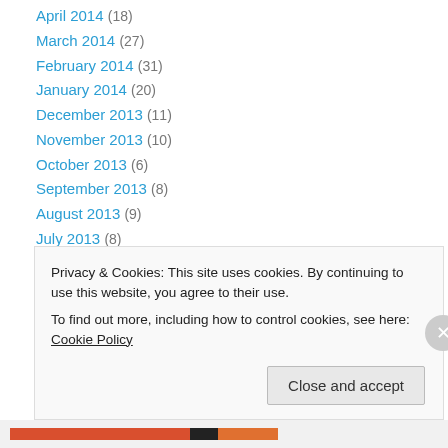April 2014 (18)
March 2014 (27)
February 2014 (31)
January 2014 (20)
December 2013 (11)
November 2013 (10)
October 2013 (6)
September 2013 (8)
August 2013 (9)
July 2013 (8)
June 2013 (13)
May 2013 (11)
April 2013 (12)
March 2013 (18) [partially visible]
Privacy & Cookies: This site uses cookies. By continuing to use this website, you agree to their use. To find out more, including how to control cookies, see here: Cookie Policy
Close and accept